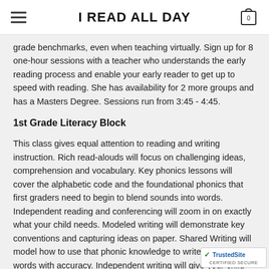I READ ALL DAY
grade benchmarks, even when teaching virtually. Sign up for 8 one-hour sessions with a teacher who understands the early reading process and enable your early reader to get up to speed with reading. She has availability for 2 more groups and has a Masters Degree. Sessions run from 3:45 - 4:45.
1st Grade Literacy Block
This class gives equal attention to reading and writing instruction. Rich read-alouds will focus on challenging ideas, comprehension and vocabulary. Key phonics lessons will cover the alphabetic code and the foundational phonics that first graders need to begin to blend sounds into words. Independent reading and conferencing will zoom in on exactly what your child needs. Modeled writing will demonstrate key conventions and capturing ideas on paper. Shared Writing will model how to use that phonic knowledge to write multi-syllabic words with accuracy. Independent writing will give your child the chance to try it all out with one of the most engaging, beloved educators arou... up for 8 one-hour sessions taught by an experienced, r...